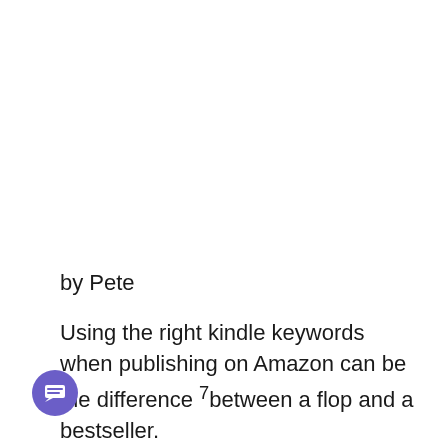by Pete
Using the right kindle keywords when publishing on Amazon can be the difference between a flop and a bestseller.
Keywords put your book in relevant
[Figure (illustration): Purple circular chat bubble icon with white speech/message lines icon inside]